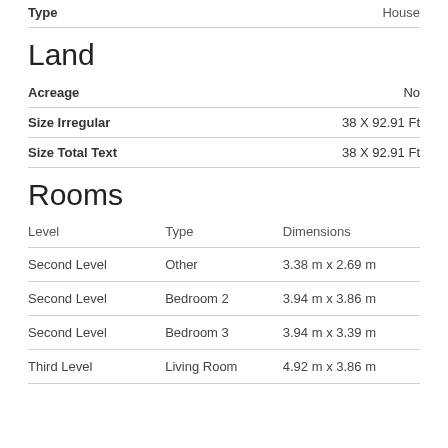| Type |  |
| --- | --- |
| Type | House |
Land
| Acreage | No |
| Size Irregular | 38 X 92.91 Ft |
| Size Total Text | 38 X 92.91 Ft |
Rooms
| Level | Type | Dimensions |
| --- | --- | --- |
| Second Level | Other | 3.38 m x 2.69 m |
| Second Level | Bedroom 2 | 3.94 m x 3.86 m |
| Second Level | Bedroom 3 | 3.94 m x 3.39 m |
| Third Level | Living Room | 4.92 m x 3.86 m |